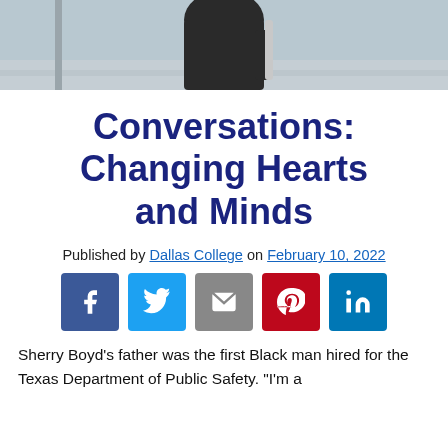[Figure (photo): Photo banner showing a person (partially cropped) wearing dark clothing, against a light background]
Conversations: Changing Hearts and Minds
Published by Dallas College on February 10, 2022
[Figure (infographic): Social media share buttons: Facebook, Twitter, Email, Pinterest, LinkedIn]
Sherry Boyd's father was the first Black man hired for the Texas Department of Public Safety. "I'm a